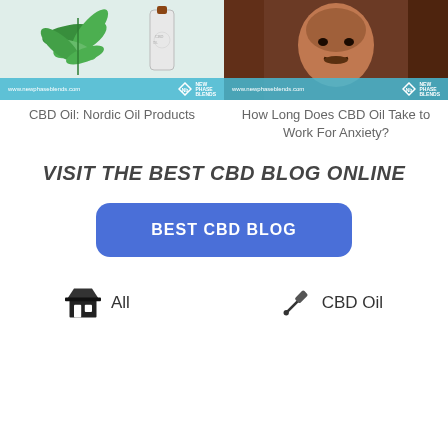[Figure (photo): CBD oil product photo with cannabis leaf and bottle, New Phase Blends watermark]
[Figure (photo): Photo of a man, New Phase Blends watermark]
CBD Oil: Nordic Oil Products
How Long Does CBD Oil Take to Work For Anxiety?
VISIT THE BEST CBD BLOG ONLINE
BEST CBD BLOG
All
CBD Oil